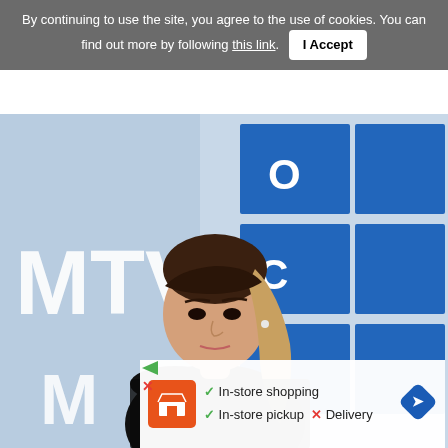By continuing to use the site, you agree to the use of cookies. You can find out more by following this link.  I Accept
[Figure (photo): A young woman with long dark hair in a high ponytail and bangs, wearing a black off-shoulder lace top, posing in front of an MTV Video Music Awards backdrop with blue MTV logo tiles]
✓ In-store shopping  ✓ In-store pickup  ✗ Delivery